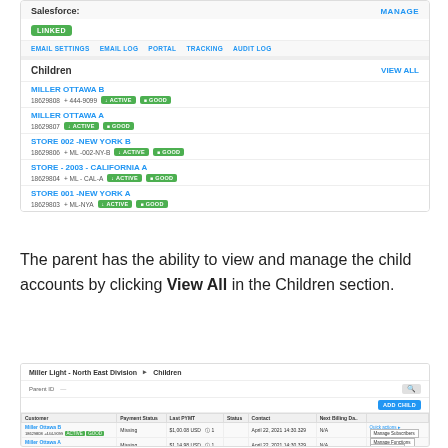[Figure (screenshot): Screenshot of a software interface showing Salesforce linked status with LINKED badge, navigation tabs (EMAIL SETTINGS, EMAIL LOG, PORTAL, TRACKING, AUDIT LOG), and a Children section with VIEW ALL link listing child accounts: MILLER OTTAWA B (18629808, +444-9099, ACTIVE, GOOD), MILLER OTTAWA A (18629807, ACTIVE, GOOD), STORE 002 -NEW YORK B (18629806, +ML-002-NY-B, ACTIVE, GOOD), STORE - 2003 - CALIFORNIA A (18629804, +ML-CAL-A, ACTIVE, GOOD), STORE 001 -NEW YORK A (18629803, +ML-NYA, ACTIVE, GOOD)]
The parent has the ability to view and manage the child accounts by clicking View All in the Children section.
[Figure (screenshot): Screenshot of Miller Light - North East Division Children view with search by Parent ID field, ADD CHILD button, and a table showing child accounts with columns for Customer, Payment Status, Last PYMT, Status, Contact, Next Billing Date, and quick actions dropdown showing Manage Subscribers, Manage Functions, Add Payment, and Add Device options.]